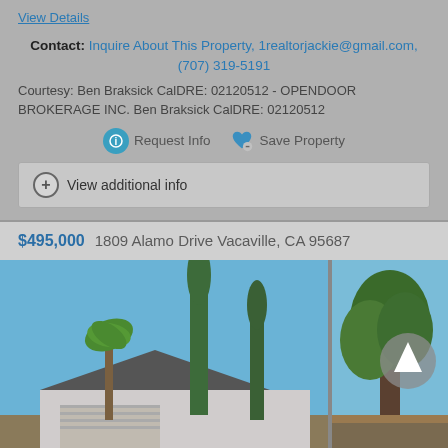View Details
Contact: Inquire About This Property, 1realtorjackie@gmail.com, (707) 319-5191
Courtesy: Ben Braksick CalDRE: 02120512 - OPENDOOR BROKERAGE INC. Ben Braksick CalDRE: 02120512
Request Info  Save Property
View additional info
$495,000  1809 Alamo Drive Vacaville, CA 95687
[Figure (photo): Exterior photo of a single-family home at 1809 Alamo Drive Vacaville CA, showing the house roofline, garage, tall cypress and palm trees against a clear blue sky. Two-panel collage view.]